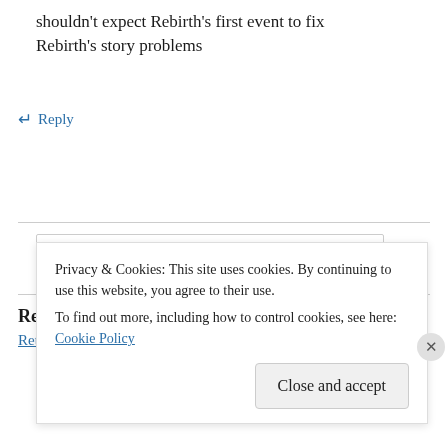shouldn't expect Rebirth's first event to fix Rebirth's story problems
↵ Reply
Search
Recent Posts
Retcon Punch Signing Off
Privacy & Cookies: This site uses cookies. By continuing to use this website, you agree to their use.
To find out more, including how to control cookies, see here: Cookie Policy
Close and accept